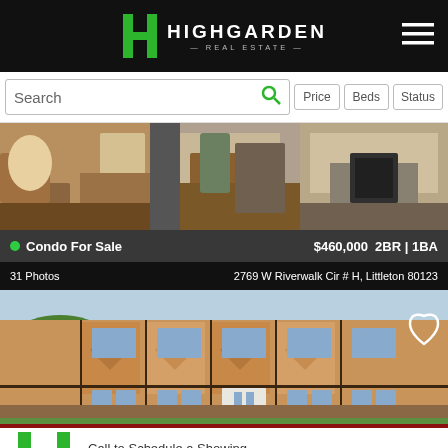[Figure (logo): Highgarden Real Estate logo with green H icon and white text on black background, hamburger menu icon on right]
[Figure (screenshot): Search bar with Search text field, green magnifying glass icon, and Price, Beds, Status filter buttons]
[Figure (photo): Three interior photos of a condo listing side by side showing living area, dining/kitchen, and bedroom]
Condo For Sale  $460,000  2BR | 1BA
31 Photos  2769 W Riverwalk Cir # H, Littleton 80123
[Figure (photo): Exterior photo of townhouse/condo building with brick and wood siding, green trees, heart icon in upper right]
Call to Schedule a Showing
(720) 729-2320